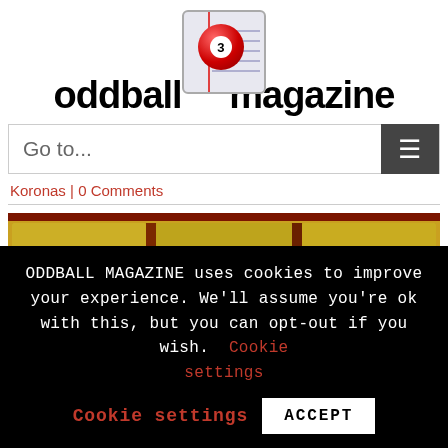[Figure (logo): Oddball Magazine logo with red billiard ball number 3 on a notepad icon, with text 'oddball magazine' in bold black]
Go to...
Koronas | 0 Comments
[Figure (photo): Close-up photo of golden/yellow textured squares with dark reddish borders, appearing to be painted or artistic tiles]
ODDBALL MAGAZINE uses cookies to improve your experience. We'll assume you're ok with this, but you can opt-out if you wish. Cookie settings ACCEPT